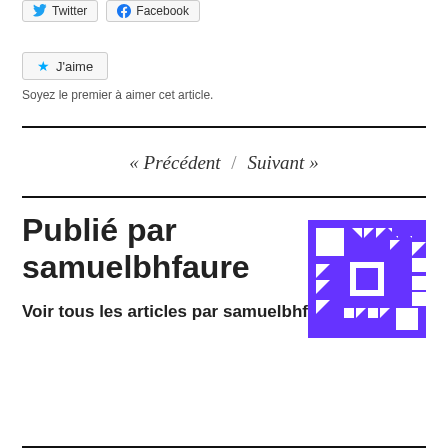[Figure (screenshot): Twitter and Facebook share buttons]
[Figure (screenshot): J'aime (Like) button with star icon]
Soyez le premier à aimer cet article.
« Précédent / Suivant »
Publié par samuelbhfaure
Voir tous les articles par samuelbhfaure
[Figure (logo): Purple Gravatar/WordPress avatar with geometric quilt pattern]